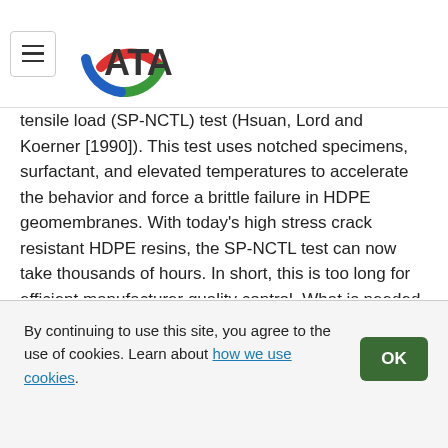ATA (logo with hamburger menu)
tensile load (SP-NCTL) test (Hsuan, Lord and Koerner [1990]). This test uses notched specimens, surfactant, and elevated temperatures to accelerate the behavior and force a brittle failure in HDPE geomembranes. With today's high stress crack resistant HDPE resins, the SP-NCTL test can now take thousands of hours. In short, this is too long for efficient manufacturer quality control. What is needed is an extremely fast method for determining the stress crack susceptibility of HDPE geomembranes. Such a technique has been suggested by Havermans et al. (2010); Zanzinger et al. (2015); and Ramsey, Zanzinger and Zimmel (2018).
Building on the work referenced above and after years of work with two different students, we finally have a new
By continuing to use this site, you agree to the use of cookies. Learn about how we use cookies.